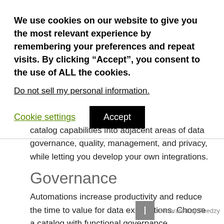We use cookies on our website to give you the most relevant experience by remembering your preferences and repeat visits. By clicking “Accept”, you consent to the use of ALL the cookies.
Do not sell my personal information.
Cookie settings
Accept
catalog capabilities into adjacent areas of data governance, quality, management, and privacy, while letting you develop your own integrations.
Governance
Automations increase productivity and reduce the time to value for data explorations. Choose a catalog with functional governance capabilities to simplify catalog setup, onboard users, derive end-to-end lineage, enable data quality, and audit usage.
Generated by Feedzy